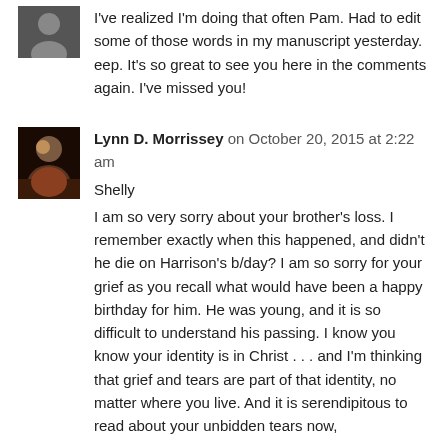I've realized I'm doing that often Pam. Had to edit some of those words in my manuscript yesterday. eep. It's so great to see you here in the comments again. I've missed you!
Lynn D. Morrissey on October 20, 2015 at 2:22 am
Shelly
I am so very sorry about your brother's loss. I remember exactly when this happened, and didn't he die on Harrison's b/day? I am so sorry for your grief as you recall what would have been a happy birthday for him. He was young, and it is so difficult to understand his passing. I know you know your identity is in Christ . . . and I'm thinking that grief and tears are part of that identity, no matter where you live. And it is serendipitous to read about your unbidden tears now, because I to have been writing about which...